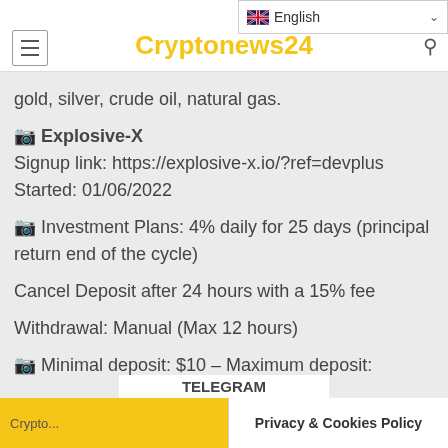Cryptonews24
gold, silver, crude oil, natural gas.
🔸 Explosive-X
Signup link: https://explosive-x.io/?ref=devplus
Started: 01/06/2022
🔸 Investment Plans: 4% daily for 25 days (principal return end of the cycle)
Cancel Deposit after 24 hours with a 15% fee
Withdrawal: Manual (Max 12 hours)
🔸 Minimal deposit: $10 – Maximum deposit:
TELEGRAM
Crypto...
Privacy & Cookies Policy